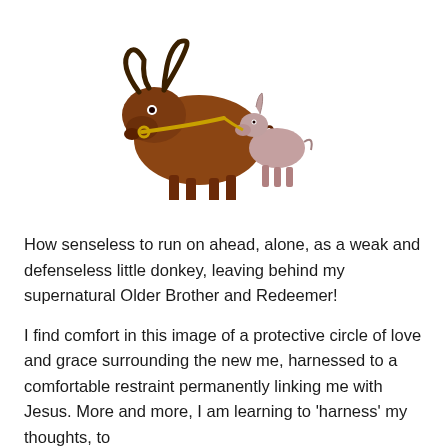[Figure (illustration): Illustration of a large brown buffalo/ox with horns facing left, and a smaller pinkish donkey/goat to its right, connected at the mouth area suggesting the ox is holding the smaller animal.]
How senseless to run on ahead, alone, as a weak and defenseless little donkey, leaving behind my supernatural Older Brother and Redeemer!
I find comfort in this image of a protective circle of love and grace surrounding the new me, harnessed to a comfortable restraint permanently linking me with Jesus. More and more, I am learning to 'harness' my thoughts, to